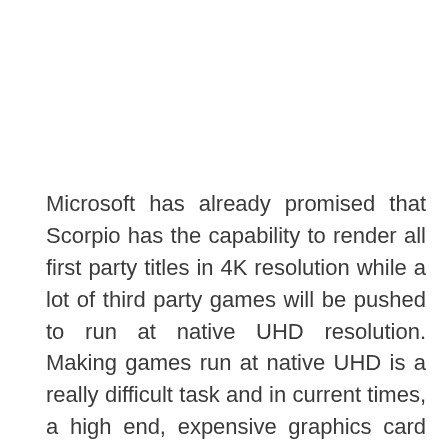Microsoft has already promised that Scorpio has the capability to render all first party titles in 4K resolution while a lot of third party games will be pushed to run at native UHD resolution. Making games run at native UHD is a really difficult task and in current times, a high end, expensive graphics card like the Nvidia GTX 1080 is capable of achieving it at good frame rates. The pricing of the single GFX is usually on par with the entire console's cost, close to $600 or more but Microsoft is supposed to provide the entire machine within this price bracket.